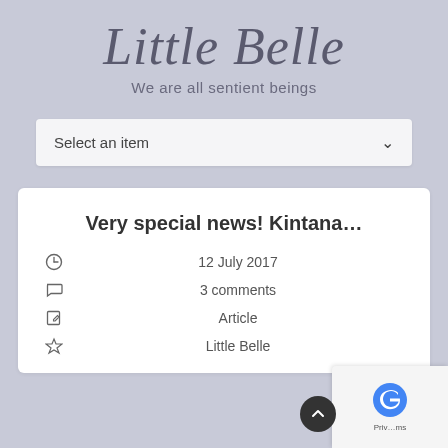Little Belle
We are all sentient beings
Select an item
Very special news! Kintana…
12 July 2017
3 comments
Article
Little Belle